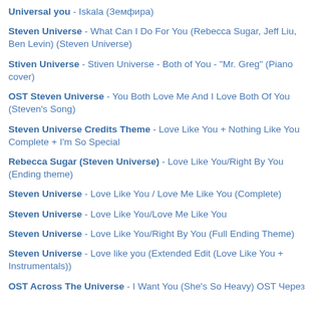Universal you - Iskala (Земфира)
Steven Universe - What Can I Do For You (Rebecca Sugar, Jeff Liu, Ben Levin) (Steven Universe)
Stiven Universe - Stiven Universe - Both of You - "Mr. Greg" (Piano cover)
OST Steven Universe - You Both Love Me And I Love Both Of You (Steven's Song)
Steven Universe Credits Theme - Love Like You + Nothing Like You Complete + I'm So Special
Rebecca Sugar (Steven Universe) - Love Like You/Right By You (Ending theme)
Steven Universe - Love Like You / Love Me Like You (Complete)
Steven Universe - Love Like You/Love Me Like You
Steven Universe - Love Like You/Right By You (Full Ending Theme)
Steven Universe - Love like you (Extended Edit (Love Like You + Instrumentals))
OST Across The Universe - I Want You (She's So Heavy) OST Через...